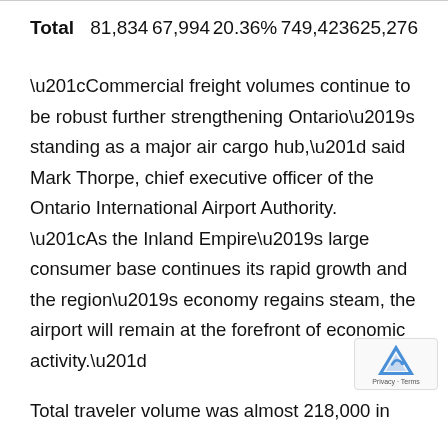| Total | 81,834 | 67,994 | 20.36% | 749,423 | 625,276 |
“Commercial freight volumes continue to be robust further strengthening Ontario’s standing as a major air cargo hub,” said Mark Thorpe, chief executive officer of the Ontario International Airport Authority. “As the Inland Empire’s large consumer base continues its rapid growth and the region’s economy regains steam, the airport will remain at the forefront of economic activity.”
Total traveler volume was almost 218,000 in